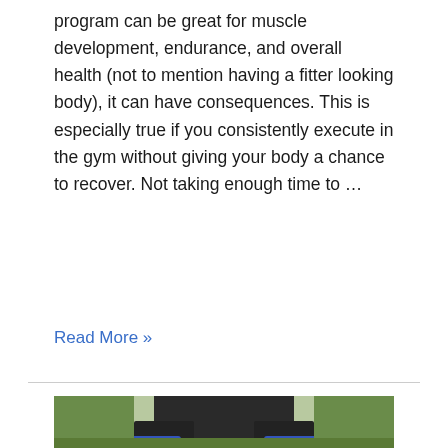program can be great for muscle development, endurance, and overall health (not to mention having a fitter looking body), it can have consequences. This is especially true if you consistently execute in the gym without giving your body a chance to recover. Not taking enough time to …
Read More »
[Figure (photo): Person performing a squat exercise outdoors wearing black leggings and blue sneakers, with green trees/bushes in the background]